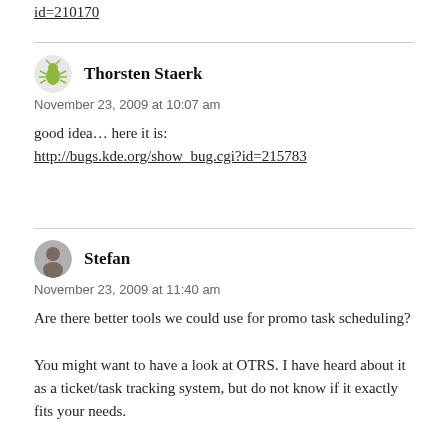id=210170
Thorsten Staerk
November 23, 2009 at 10:07 am

good idea… here it is:
http://bugs.kde.org/show_bug.cgi?id=215783
Stefan
November 23, 2009 at 11:40 am

Are there better tools we could use for promo task scheduling?

You might want to have a look at OTRS. I have heard about it as a ticket/task tracking system, but do not know if it exactly fits your needs.